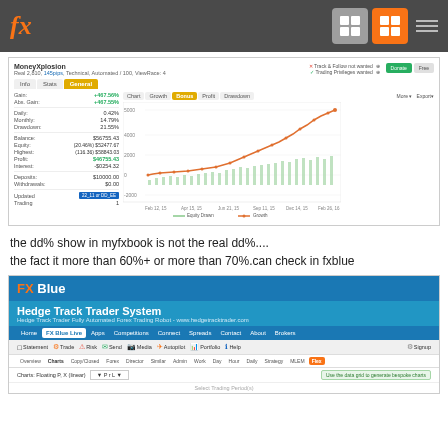fx [navigation icons]
[Figure (screenshot): Myfxbook account screenshot showing MoneyXplosion stats with equity growth chart. Gain: +467.56%, Abs. Gain: +467.55%, Daily: 0.42%, Monthly: 14.79%, Drawdown: 21.55%, Balance: $56755.43, Equity: (20.46%) $52477.67, Highest: (116.36) $58843.03, Profit: $46755.43, Interest: -$0254.32, Deposits: $10000.00, Withdrawals: $0.00, Trading: 1. Chart showing equity growth line (orange/red) trending upward from ~100 to ~5000 range over time from Feb 2015 to Feb 2016, with green equity drawdown bars below.]
the dd% show in myfxbook is not the real dd%....
the fact it more than 60%+ or more than 70%.can check in fxblue
[Figure (screenshot): FX Blue website screenshot showing Hedge Track Trader System page. Shows navigation with Home, FX Blue Live (active), Apps, Competitions, Connect, Spreads, Contact, About, Brokers. Tool icons for Statement, Trade, Risk, Send, Media, Autopilot, Portfolio, Help, Signup. Sub-tabs showing Overview, Charts (bold), Copy/Closed, Forex, Director, Similar, Admin, Work, Day, Hour, Daily, Strategy, MLEM, and Flex (active/orange) tabs. Chart type selector showing 'Charts: Floating P, X (linear)' with dropdown and info button.]